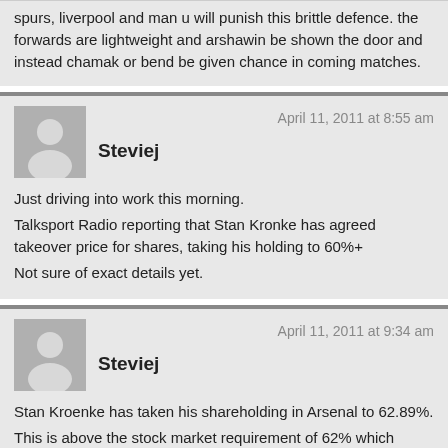spurs, liverpool and man u will punish this brittle defence. the forwards are lightweight and arshawin be shown the door and instead chamak or bend be given chance in coming matches.
Steviej — April 11, 2011 at 8:55 am
Just driving into work this morning.
Talksport Radio reporting that Stan Kronke has agreed takeover price for shares, taking his holding to 60%+
Not sure of exact details yet.
Steviej — April 11, 2011 at 9:34 am
Stan Kroenke has taken his shareholding in Arsenal to 62.89%.
This is above the stock market requirement of 62% which could see a complete takeover.
This seems to be the preferred direction according to early reactions from Arsene and Mr. Hill Wood, who obviously didn't want the